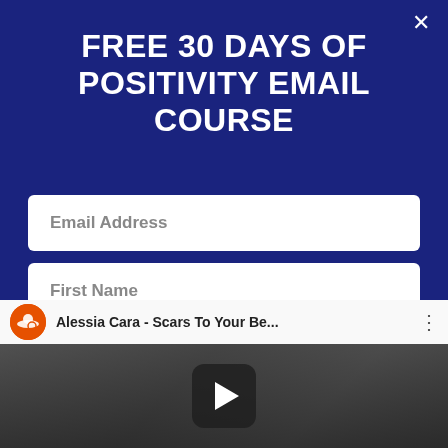FREE 30 DAYS OF POSITIVITY EMAIL COURSE
[Figure (screenshot): Email signup form with Email Address and First Name input fields, a red START NOW button, and a YouTube video embed showing 'Alessia Cara - Scars To Your Be...' with a play button overlay]
Email Address
First Name
START NOW
Alessia Cara - Scars To Your Be...